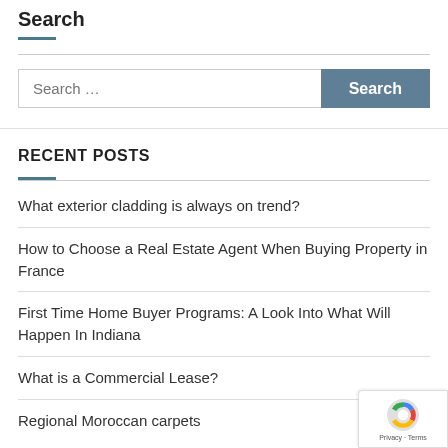Search
Search ...
RECENT POSTS
What exterior cladding is always on trend?
How to Choose a Real Estate Agent When Buying Property in France
First Time Home Buyer Programs: A Look Into What Will Happen In Indiana
What is a Commercial Lease?
Regional Moroccan carpets